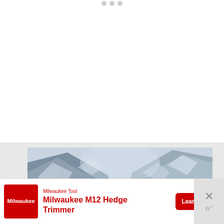[Figure (other): Three gray navigation dots at top center of page, indicating a carousel or slideshow UI element]
[Figure (photo): Aerial or landscape photograph of a mountain valley with steep rocky slopes on both sides, snow-dusted peaks, and a valley floor below. Blue-grey rocky terrain.]
[Figure (infographic): Advertisement banner for Milwaukee Tool - Milwaukee M12 Hedge Trimmer. Contains Milwaukee Tool red logo, product name in red text, 'Learn More' red button, and a close (X) button on the right with a 'w' watermark icon.]